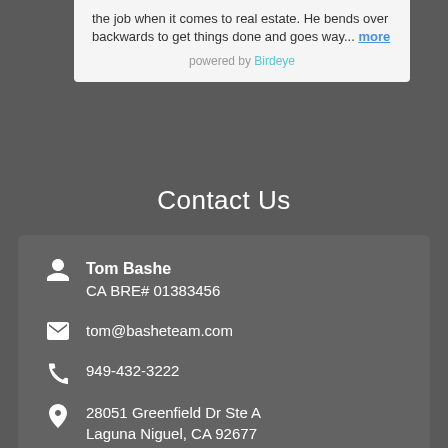the job when it comes to real estate. He bends over backwards to get things done and goes way... more
powered by Birdeye
Contact Us
Tom Bashe
CA BRE# 01383456
tom@basheteam.com
949-432-3222
28051 Greenfield Dr Ste A
Laguna Niguel, CA 92677